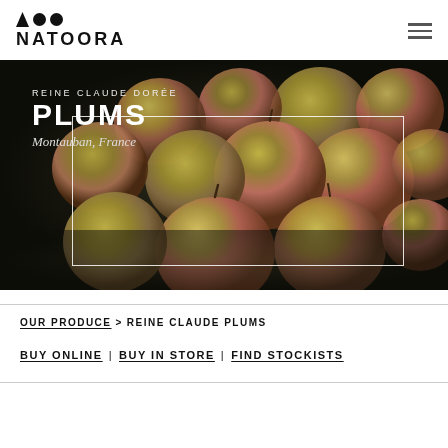[Figure (logo): Natoora logo with three dots (triangle, two circles) above text NATOORA in bold uppercase letters]
[Figure (photo): Dark food photography of Reine Claude Dorée plums (greenish-yellow with red blush) piled on a dark background. White text overlay reads 'REINE CLAUDE DORÉE PLUMS Montauban, France' with a white rectangle border graphic.]
OUR PRODUCE > REINE CLAUDE PLUMS
BUY ONLINE | BUY IN STORE | FIND STOCKISTS